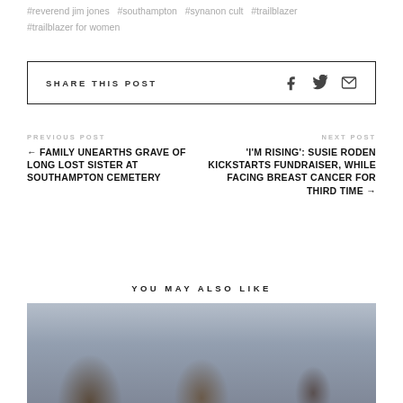#reverend jim jones  #southampton  #synanon cult  #trailblazer  #trailblazer for women
SHARE THIS POST
PREVIOUS POST
← FAMILY UNEARTHS GRAVE OF LONG LOST SISTER AT SOUTHAMPTON CEMETERY
NEXT POST
'I'M RISING': SUSIE RODEN KICKSTARTS FUNDRAISER, WHILE FACING BREAST CANCER FOR THIRD TIME →
YOU MAY ALSO LIKE
[Figure (photo): Photo of people outdoors, appears to show two or three individuals, one holding a microphone]